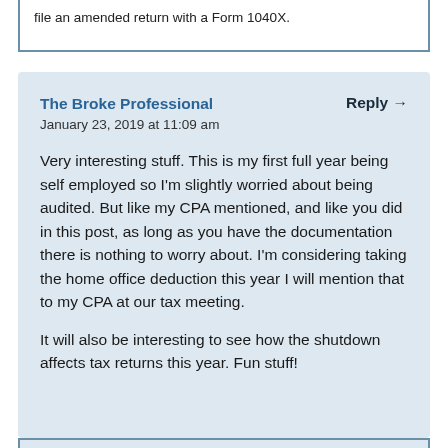file an amended return with a Form 1040X.
The Broke Professional
January 23, 2019 at 11:09 am
Reply →
Very interesting stuff. This is my first full year being self employed so I'm slightly worried about being audited. But like my CPA mentioned, and like you did in this post, as long as you have the documentation there is nothing to worry about. I'm considering taking the home office deduction this year I will mention that to my CPA at our tax meeting.
It will also be interesting to see how the shutdown affects tax returns this year. Fun stuff!